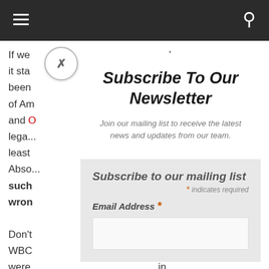If we... enly
it sta... e
been... nes
of Am... ssein
and ... e
lega...
least
Absc...
such
wron
Don't... e
WBC... They
were... in
one s...
peop... hey
did w
Subscribe To Our Newsletter
Join our mailing list to receive the latest news and updates from our team.
Subscribe to our mailing list
* indicates required
Email Address *